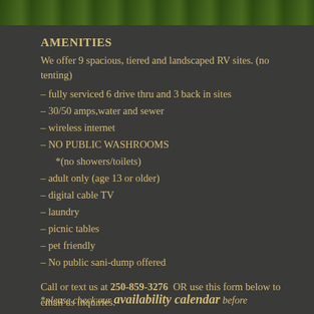[Figure (photo): Green foliage/trees photo strip at top of page]
AMENITIES
We offer 9 spacious, tiered and landscaped RV sites. (no tenting)
– fully serviced 6 drive thru and 3 back in sites
– 30/50 amps,water and sewer
– wireless internet
– NO PUBLIC WASHROOMS
   *(no showers/toilets)
– adult only (age 13 or older)
– digital cable TV
– laundry
– picnic tables
– pet friendly
– No public sani-dump offered
Call or text us at 250-859-3276 OR use this form below to email us inquiries.
*please check our availability calendar before